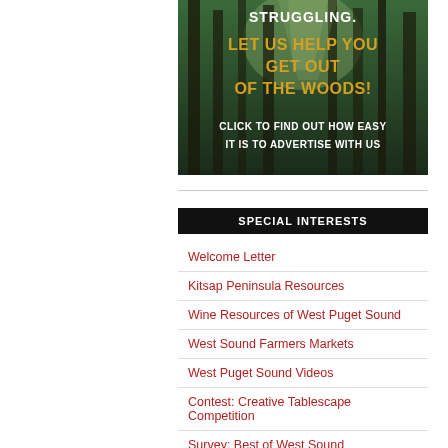[Figure (illustration): Advertisement with forest background. Top text (white): 'STRUGGLING.' Below in gold: 'LET US HELP YOU GET OUT OF THE WOODS!' Bottom text (white bold): 'CLICK TO FIND OUT HOW EASY IT IS TO ADVERTISE WITH US']
SPECIAL INTERESTS
Welcome Letter
Kitsap Peninsula Resources
Wine Resources of West Puget Sound
West Sound Farmers Markets
West Puget Sound Videos
Contest: Creative Tablescape Competition
Survey: Best of West Sound